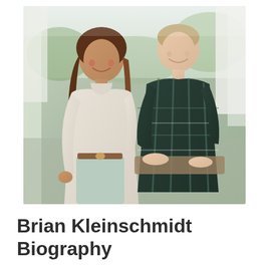[Figure (photo): Two people smiling and posing together outdoors in soft natural light. A woman with long wavy hair wearing a light beige turtleneck sweater and mint green pants stands on the left. A man wearing a dark green plaid flannel shirt leans forward slightly on the right. Background shows greenery and a white structure.]
Brian Kleinschmidt Biography